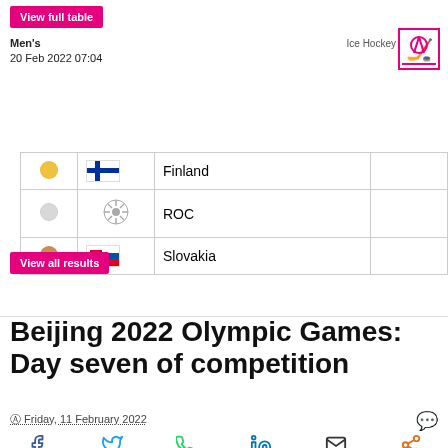View full table
Men's
20 Feb 2022 07:04
Ice Hockey
| Medal | Flag | Country |  |
| --- | --- | --- | --- |
| Gold | Finland flag | Finland |  |
| Silver | ROC emblem | ROC |  |
| Bronze | Slovakia flag | Slovakia |  |
View all results
Beijing 2022 Olympic Games: Day seven of competition
Friday, 11 February 2022